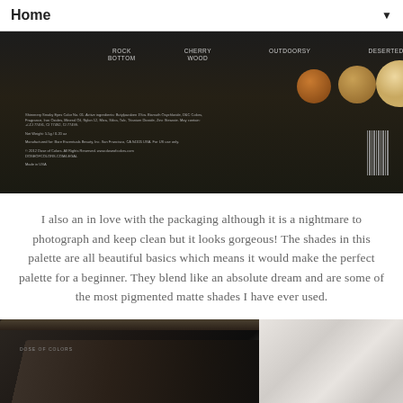Home ▼
[Figure (photo): Back of a dark eyeshadow palette packaging showing shade names: Rock Bottom, Cherry Wood, Outdoorsy, Deserted, and one more partially visible. Three circular shade swatches visible in copper, gold, and cream tones. Small text with ingredients and barcode on right.]
I also an in love with the packaging although it is a nightmare to photograph and keep clean but it looks gorgeous! The shades in this palette are all beautiful basics which means it would make the perfect palette for a beginner. They blend like an absolute dream and are some of the most pigmented matte shades I have ever used.
[Figure (photo): Open eyeshadow palette showing dark brown/chocolate matte shades inside a dark sleek packaging, with marble surface visible in background on the right.]